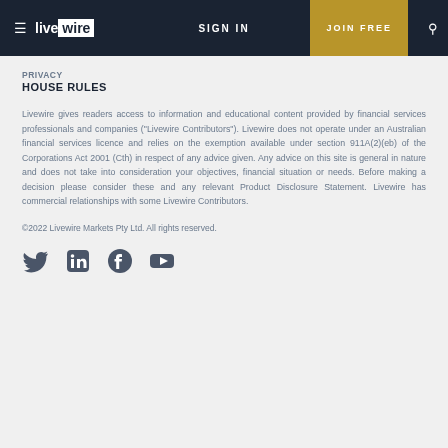livewire | SIGN IN | JOIN FREE
PRIVACY
HOUSE RULES
Livewire gives readers access to information and educational content provided by financial services professionals and companies ("Livewire Contributors"). Livewire does not operate under an Australian financial services licence and relies on the exemption available under section 911A(2)(eb) of the Corporations Act 2001 (Cth) in respect of any advice given. Any advice on this site is general in nature and does not take into consideration your objectives, financial situation or needs. Before making a decision please consider these and any relevant Product Disclosure Statement. Livewire has commercial relationships with some Livewire Contributors.
©2022 Livewire Markets Pty Ltd. All rights reserved.
[Figure (other): Social media icons: Twitter, LinkedIn, Facebook, YouTube]